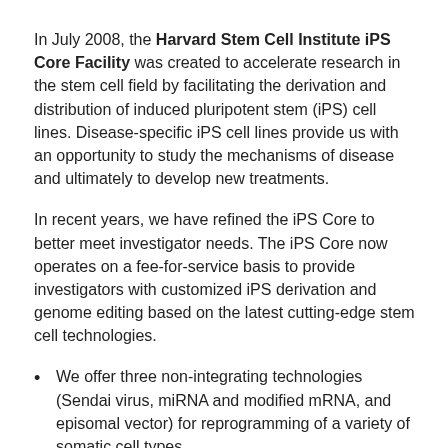In July 2008, the Harvard Stem Cell Institute iPS Core Facility was created to accelerate research in the stem cell field by facilitating the derivation and distribution of induced pluripotent stem (iPS) cell lines. Disease-specific iPS cell lines provide us with an opportunity to study the mechanisms of disease and ultimately to develop new treatments.
In recent years, we have refined the iPS Core to better meet investigator needs. The iPS Core now operates on a fee-for-service basis to provide investigators with customized iPS derivation and genome editing based on the latest cutting-edge stem cell technologies.
We offer three non-integrating technologies (Sendai virus, miRNA and modified mRNA, and episomal vector) for reprogramming of a variety of somatic cell types.
In 2013, a new service was launched, offering the generation of genome engineered hESC or hiPS lines. We currently offer TALEN or CRISPR genome editing technologies to generate